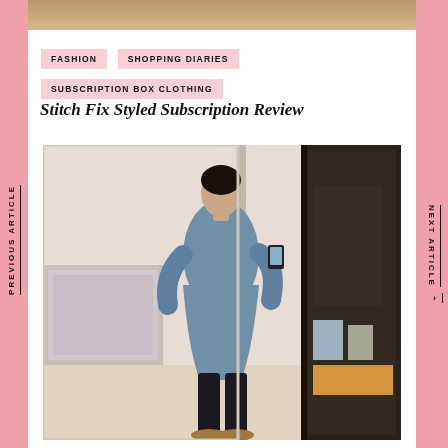[Figure (photo): Top strip: partial photo of a product or item with tan/brown tones]
FASHION
SHOPPING DIARIES
SUBSCRIPTION BOX CLOTHING
Stitch Fix Styled Subscription Review
[Figure (photo): A person wearing a blue/grey long-sleeve dress with black leggings, taking a mirror selfie in a bedroom. A dark wooden wardrobe is visible on the right side.]
PREVIOUS ARTICLE
NEXT ARTICLE